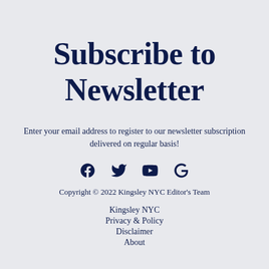Subscribe to Newsletter
Enter your email address to register to our newsletter subscription delivered on regular basis!
[Figure (infographic): Social media icons: Facebook, Twitter, YouTube, Google]
Copyright © 2022 Kingsley NYC Editor's Team
Kingsley NYC
Privacy & Policy
Disclaimer
About